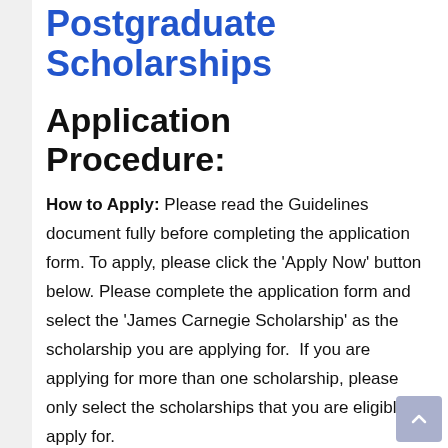Postgraduate Scholarships
Application Procedure:
How to Apply: Please read the Guidelines document fully before completing the application form. To apply, please click the 'Apply Now' button below. Please complete the application form and select the 'James Carnegie Scholarship' as the scholarship you are applying for.  If you are applying for more than one scholarship, please only select the scholarships that you are eligible to apply for.
Once you have fully completed the application form, click 'Submit Form'. You will then receive